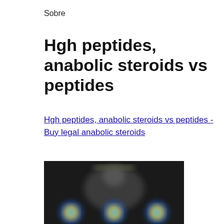Sobre
Hgh peptides, anabolic steroids vs peptides
Hgh peptides, anabolic steroids vs peptides - Buy legal anabolic steroids
[Figure (photo): Blurred dark background image showing a person and colorful circular product icons at the bottom]